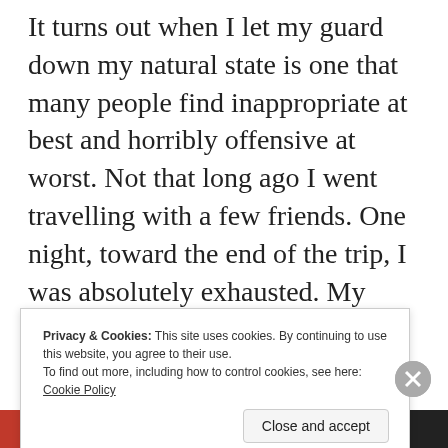It turns out when I let my guard down my natural state is one that many people find inappropriate at best and horribly offensive at worst. Not that long ago I went travelling with a few friends. One night, toward the end of the trip, I was absolutely exhausted. My ability to be alert and interact was severely reduced. We finally arrived at the hotel and then all went out to find some dinner.
Privacy & Cookies: This site uses cookies. By continuing to use this website, you agree to their use. To find out more, including how to control cookies, see here: Cookie Policy